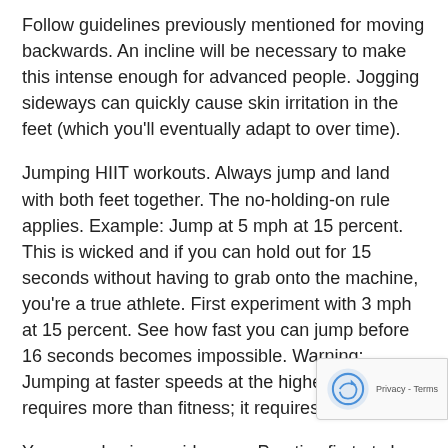Follow guidelines previously mentioned for moving backwards. An incline will be necessary to make this intense enough for advanced people. Jogging sideways can quickly cause skin irritation in the feet (which you'll eventually adapt to over time).
Jumping HIIT workouts. Always jump and land with both feet together. The no-holding-on rule applies. Example: Jump at 5 mph at 15 percent. This is wicked and if you can hold out for 15 seconds without having to grab onto the machine, you're a true athlete. First experiment with 3 mph at 15 percent. See how fast you can jump before 16 seconds becomes impossible. Warning: Jumping at faster speeds at the highest inclines requires more than fitness; it requires athletic skill.
You can also jump sideways. Practice first at slow speeds. Use an incline for intensity. You can jump backwards t... Again, practice at slow speeds. An incline will be neces... to induce intensity. Jumping backwards faster than 4.5... is not recommended.